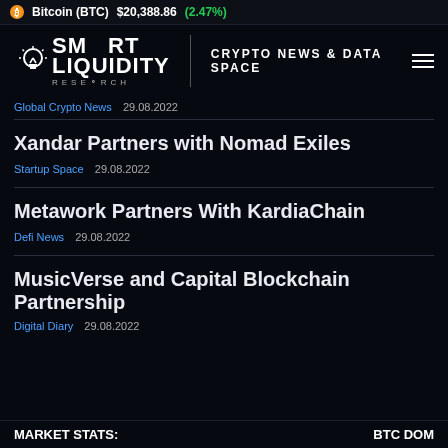Bitcoin (BTC) $20,388.86 (2.47%)
[Figure (logo): Smart Liquidity Research logo with lightbulb icon and text CRYPTO NEWS & DATA SPACE and hamburger menu]
Global Crypto News   29.08.2022
Xandar Partners with Nomad Exiles
Startup Space   29.08.2022
Metawork Partners With KardiaChain
Defi News   29.08.2022
MusicVerse and Capital Blockchain Partnership
Digital Diary   29.08.2022
MARKET STATS:    BTC DOM